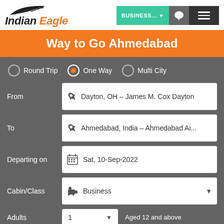[Figure (logo): Indian Eagle logo with eagle wing graphic above italic bold text 'Indian Eagle' where 'Eagle' is in orange]
[Figure (screenshot): Navigation buttons: green 'BUSINESS...' dropdown, grey chat bubble button, dark grey hamburger menu button]
Way to Go Ahmedabad
Round Trip | One Way (selected) | Multi City
From: Dayton, OH - James M. Cox Dayton
To: Ahmedabad, India - Ahmedabad Ai...
Departing on: Sat, 10-Sep-2022
Cabin/Class: Business
Adults: 1 | Aged 12 and above